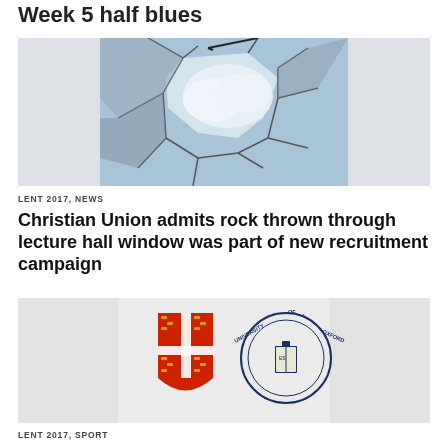Week 5 half blues
[Figure (photo): Broken glass or cracked surface with blue sky visible through the cracks]
LENT 2017, NEWS
Christian Union admits rock thrown through lecture hall window was part of new recruitment campaign
[Figure (photo): Cambridge University coat of arms shield (red and gold) and University of Oxford circular seal logo side by side on grey background]
LENT 2017, SPORT